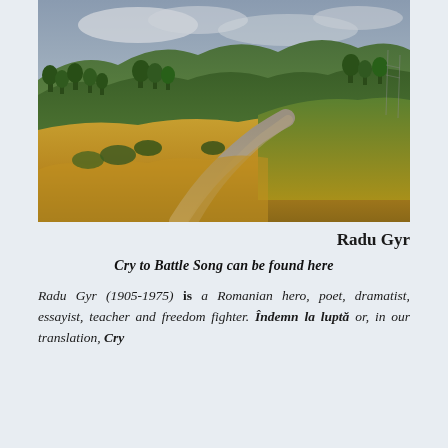[Figure (photo): Landscape photograph of Romanian countryside rolling green hills with trees, golden grassy slopes, and a dirt path winding through the hillside under a cloudy sky.]
Radu Gyr
Cry to Battle Song can be found here
Radu Gyr (1905-1975) is a Romanian hero, poet, dramatist, essayist, teacher and freedom fighter. Îndemn la luptă or, in our translation, Cry